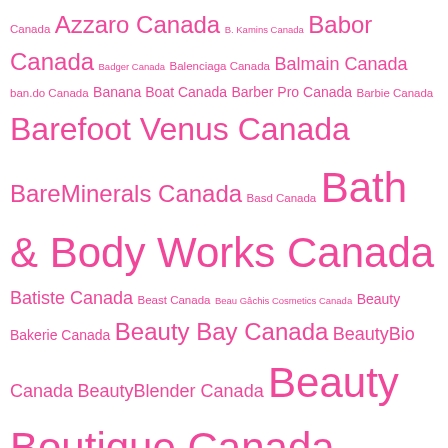Canada Azzaro Canada B. Kamins Canada Babor Canada Badger Canada Balenciaga Canada Balmain Canada ban.do Canada Banana Boat Canada Barber Pro Canada Barbie Canada Barefoot Venus Canada BareMinerals Canada Basd Canada Bath & Body Works Canada Batiste Canada Beast Canada Beau Gâchis Cosmetics Canada Beauty Bakerie Canada Beauty Bay Canada BeautyBio Canada BeautyBlender Canada Beauty Boutique Canada Beauty Bridge Canada Beautycounter Canada Beautylish Canada Beauty Plus Salon Canada BeautyPro Canada BeautyStat Canada Becca Cosmetics Canada Bed Bath & Beyond Canada Bed Head Canada Bees Matter Canada Belif Canada Bellapierre Cosmetics Canada Belle En Argent Canada Benefit Cosmetics Canada Besame Cosmetics Canada Be True and You Canada Better Oats Canada BevTri Canada Beyond Canada BH Cosmetics Canada BIC Soleil Canada Bioactive